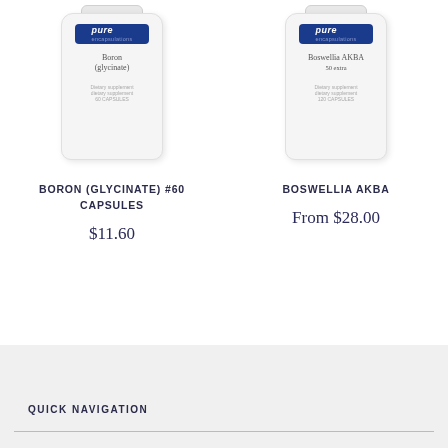[Figure (photo): Pure Encapsulations Boron (Glycinate) supplement bottle, white with blue label]
BORON (GLYCINATE) #60 CAPSULES
$11.60
[Figure (photo): Pure Encapsulations Boswellia AKBA supplement bottle, white with blue label]
BOSWELLIA AKBA
From $28.00
QUICK NAVIGATION